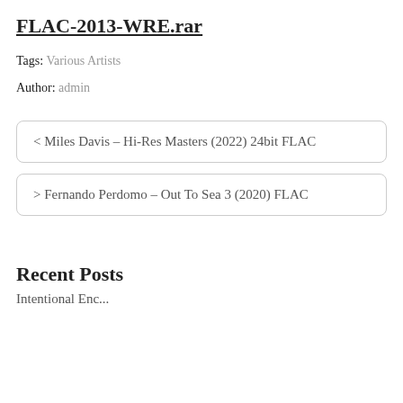FLAC-2013-WRE.rar
Tags: Various Artists
Author: admin
< Miles Davis – Hi-Res Masters (2022) 24bit FLAC
> Fernando Perdomo – Out To Sea 3 (2020) FLAC
Recent Posts
Intentional Encounters...